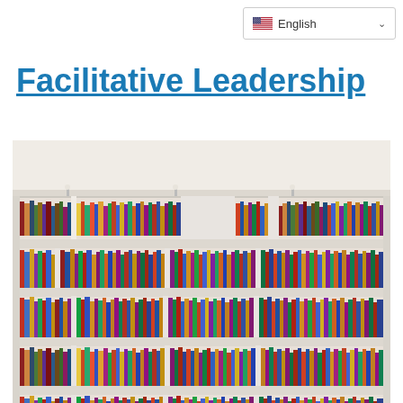English
Facilitative Leadership
[Figure (photo): Photo of a library bookshelf with multiple rows of colorful books arranged on white shelves, viewed from the front. The shelves are well-stocked with books of various heights, widths and colors spanning several rows.]